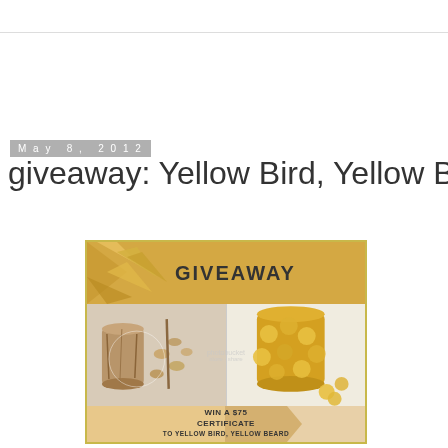May 8, 2012
giveaway: Yellow Bird, Yellow Beard:
[Figure (illustration): Giveaway promotional image for Yellow Bird, Yellow Beard with golden/yellow color scheme. Shows 'GIVEAWAY' text header with geometric bird shapes, four product photos of handcrafted items including paper/cardboard sculptural vessels and yellow felt coin decorations, and a banner reading 'WIN A $75 CERTIFICATE TO YELLOW BIRD, YELLOW BEARD'. Photobucket watermark overlay visible.]